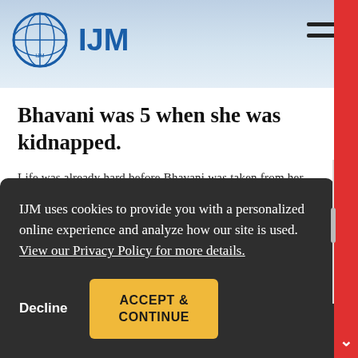[Figure (logo): IJM (International Justice Mission) logo with globe icon and organization name in blue]
Bhavani was 5 when she was kidnapped.
Life was already hard before Bhavani was taken from her parents. Her mom and dad had been slaves on a sugarcane farm for a year, trapped to repay a…
IJM uses cookies to provide you with a personalized online experience and analyze how our site is used.  View our Privacy Policy for more details.
Decline
ACCEPT & CONTINUE